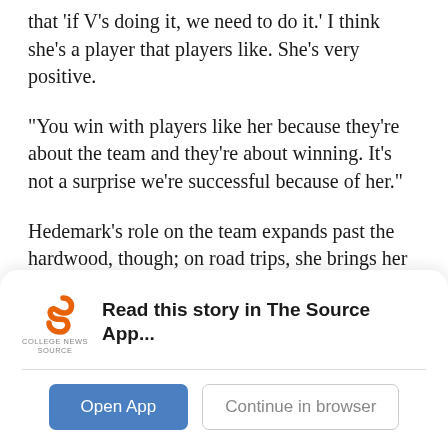that 'if V's doing it, we need to do it.' I think she's a player that players like. She's very positive.
“You win with players like her because they’re about the team and they’re about winning. It’s not a surprise we’re successful because of her.”
Hedemark’s role on the team expands past the hardwood, though; on road trips, she brings her Bluetooth speaker on the bus and serves as the team DJ.
“We’re a big top 40 type team so whatever’s on the radio I have to have downloaded on my phone because
[Figure (logo): College News Source app logo - orange S shape with 'COLLEGE NEWS SOURCE' text below]
Read this story in The Source App...
Open App
Continue in browser